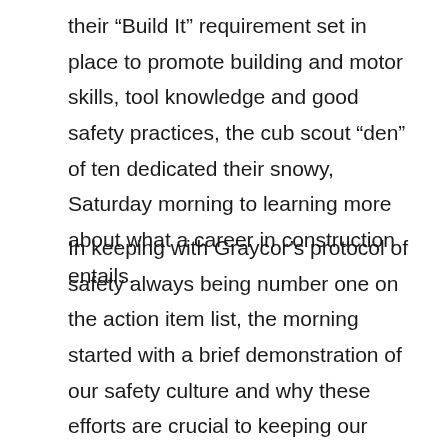their “Build It” requirement set in place to promote building and motor skills, tool knowledge and good safety practices, the cub scout “den” of ten dedicated their snowy, Saturday morning to learning more about what a career in construction entails.
In keeping with Graycor’s protocol of safety always being number one on the action item list, the morning started with a brief demonstration of our safety culture and why these efforts are crucial to keeping our employees safe. Each child was provided a bag of gear including a personalized hard hat, measuring tape, flashlight and safety glasses and encouraged to think about why